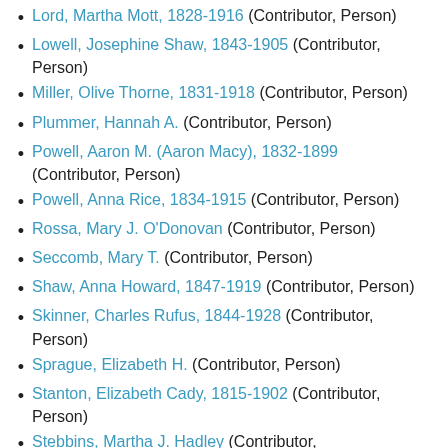Lord, Martha Mott, 1828-1916 (Contributor, Person)
Lowell, Josephine Shaw, 1843-1905 (Contributor, Person)
Miller, Olive Thorne, 1831-1918 (Contributor, Person)
Plummer, Hannah A. (Contributor, Person)
Powell, Aaron M. (Aaron Macy), 1832-1899 (Contributor, Person)
Powell, Anna Rice, 1834-1915 (Contributor, Person)
Rossa, Mary J. O'Donovan (Contributor, Person)
Seccomb, Mary T. (Contributor, Person)
Shaw, Anna Howard, 1847-1919 (Contributor, Person)
Skinner, Charles Rufus, 1844-1928 (Contributor, Person)
Sprague, Elizabeth H. (Contributor, Person)
Stanton, Elizabeth Cady, 1815-1902 (Contributor, Person)
Stebbins, Martha J. Hadley (Contributor,